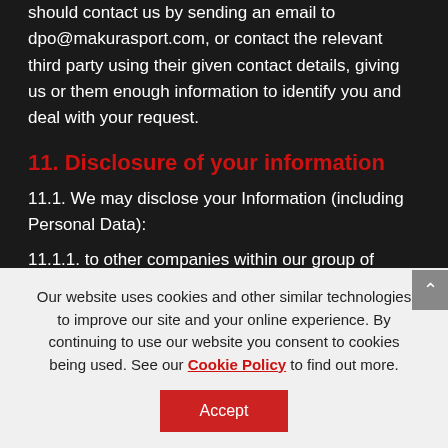marketing purposes. If you wish to exercise this right, you should contact us by sending an email to dpo@makurasport.com, or contact the relevant third party using their given contact details, giving us or them enough information to identify you and deal with your request.
11. Disclosure of your information
11.1. We may disclose your Information (including Personal Data):
11.1.1. to other companies within our group of companies
Our website uses cookies and other similar technologies to improve our site and your online experience. By continuing to use our website you consent to cookies being used. See our Cookie Policy to find out more.
Accept